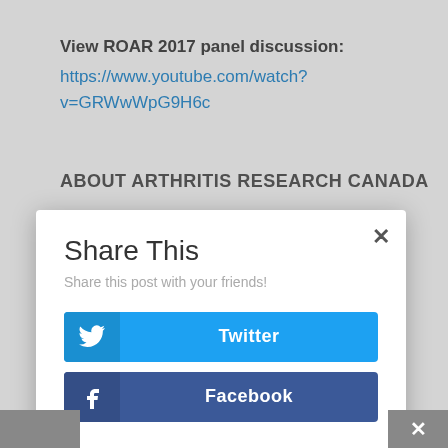View ROAR 2017 panel discussion: https://www.youtube.com/watch?v=GRWwWpG9H6c
ABOUT ARTHRITIS RESEARCH CANADA
Share This
Share this post with your friends!
Twitter
Facebook